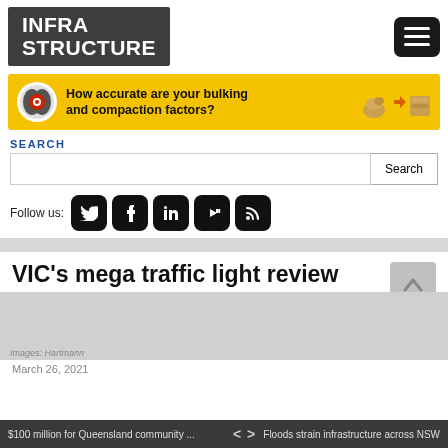[Figure (logo): Infrastructure magazine logo - white bold text on dark gray background reading INFRA STRUCTURE]
[Figure (infographic): Yellow advertisement banner: How accurate are your bulking and compaction factors? with circular target icon and illustrations of rock/soil compaction]
SEARCH
[Figure (screenshot): Search bar with Search button]
Follow us:
[Figure (infographic): Social media buttons: Twitter, Facebook, LinkedIn, YouTube, RSS feed - black rounded square icons]
VIC's mega traffic light review
[Figure (photo): Partially visible photo area (gray placeholder) with image credit 'Images: Hartmann']
March 26, 2021
$100 million for Queensland community ... < > Floods strain infrastructure across NSW